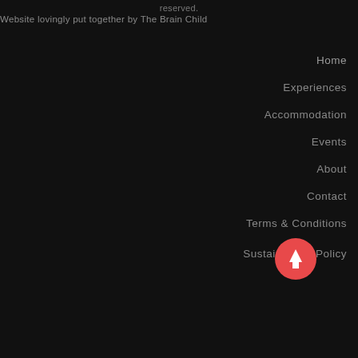reserved.
Website lovingly put together by The Brain Child
Home
Experiences
Accommodation
Events
About
Contact
Terms & Conditions
Sustainability Policy
[Figure (illustration): Red circular scroll-to-top button with upward arrow icon]